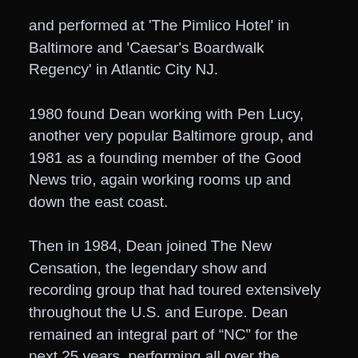and performed at 'The Pimlico Hotel' in Baltimore and 'Caesar's Boardwalk Regency' in Atlantic City NJ.
1980 found Dean working with Pen Lucy, another very popular Baltimore group, and 1981 as a founding member of the Good News trio, again working rooms up and down the east coast.
Then in 1984, Dean joined The New Censation, the legendary show and recording group that had toured extensively throughout the U.S. and Europe. Dean remained an integral part of “NC” for the next 25 years, performing all over the country. Dean and the group are still great friends and golf buddies.
In 2009, Dean took a hiatus from music to deal with some health issues. In 2011, with health issues